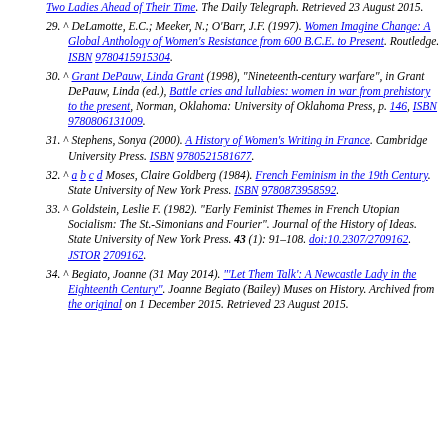(continuation) Two Ladies Ahead of Their Time. The Daily Telegraph. Retrieved 23 August 2015.
29. ^ DeLamotte, E.C.; Meeker, N.; O'Barr, J.F. (1997). Women Imagine Change: A Global Anthology of Women's Resistance from 600 B.C.E. to Present. Routledge. ISBN 9780415915304.
30. ^ Grant DePauw, Linda Grant (1998), "Nineteenth-century warfare", in Grant DePauw, Linda (ed.), Battle cries and lullabies: women in war from prehistory to the present, Norman, Oklahoma: University of Oklahoma Press, p. 146, ISBN 9780806131009.
31. ^ Stephens, Sonya (2000). A History of Women's Writing in France. Cambridge University Press. ISBN 9780521581677.
32. ^ a b c d Moses, Claire Goldberg (1984). French Feminism in the 19th Century. State University of New York Press. ISBN 9780873958592.
33. ^ Goldstein, Leslie F. (1982). "Early Feminist Themes in French Utopian Socialism: The St.-Simonians and Fourier". Journal of the History of Ideas. State University of New York Press. 43 (1): 91-108. doi:10.2307/2709162. JSTOR 2709162.
34. ^ Begiato, Joanne (31 May 2014). "'Let Them Talk': A Newcastle Lady in the Eighteenth Century". Joanne Begiato (Bailey) Muses on History. Archived from the original on 1 December 2015. Retrieved 23 August 2015.